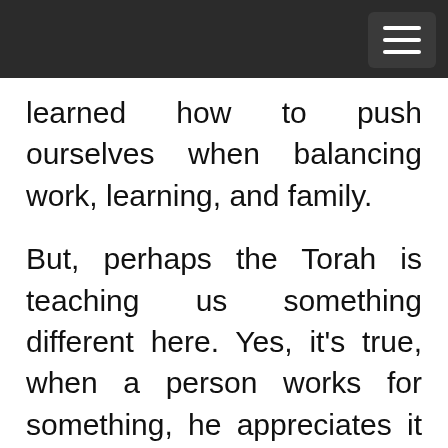learned how to push ourselves when balancing work, learning, and family.
But, perhaps the Torah is teaching us something different here. Yes, it's true, when a person works for something, he appreciates it more. But maybe Hashem is telling us that, on a higher level, when it comes to things in this world, everything comes from Him; nothing is really "earned," but is "received" from Hashem. Some people have to work harder to receive it, but it's not really the work that causes physical benefit, but really it's Hashem. We all know